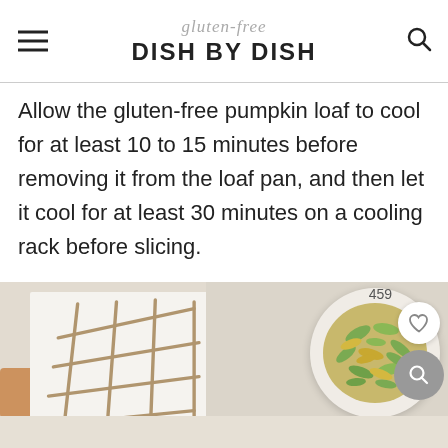gluten-free DISH BY DISH
Allow the gluten-free pumpkin loaf to cool for at least 10 to 15 minutes before removing it from the loaf pan, and then let it cool for at least 30 minutes on a cooling rack before slicing.
[Figure (photo): Photo of a cooling rack over pumpkin bread on the left, and a white bowl filled with pumpkin seeds on the right, with a heart save button showing 459 and a search button overlay.]